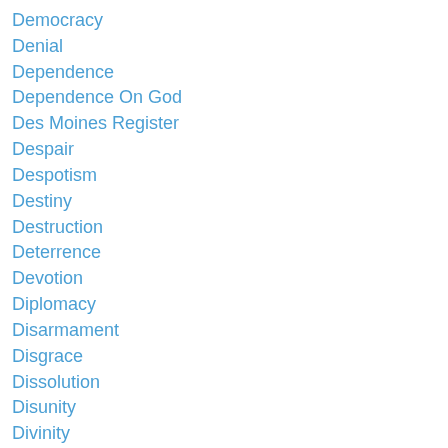Democracy
Denial
Dependence
Dependence On God
Des Moines Register
Despair
Despotism
Destiny
Destruction
Deterrence
Devotion
Diplomacy
Disarmament
Disgrace
Dissolution
Disunity
Divinity
Dobbs V Jackson
Doctrines
Donald Trump
Douglas Mac Arthur